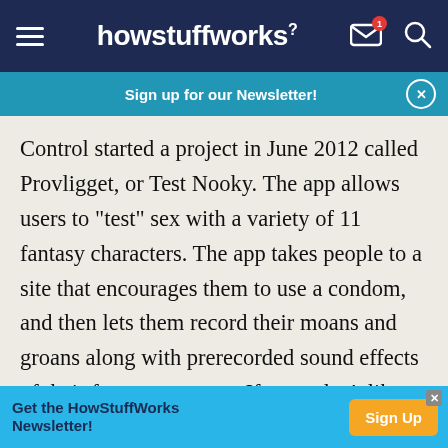howstuffworks
Sign up for our Newsletter!
Control started a project in June 2012 called Provligget, or Test Nooky. The app allows users to "test" sex with a variety of 11 fantasy characters. The app takes people to a site that encourages them to use a condom, and then lets them record their moans and groans along with prerecorded sound effects of their fantasy partners. If users don't like any of the fantasy partners, the app will send a request to the Facebook friend of their choice for a
Get the HowStuffWorks Newsletter!